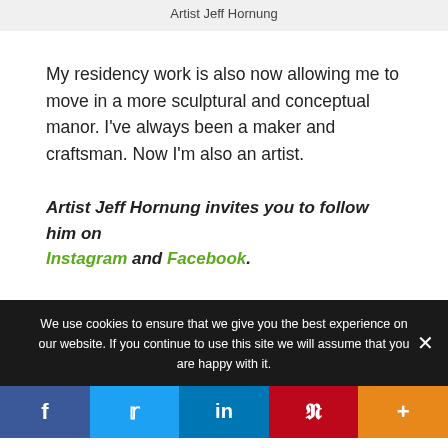Artist Jeff Hornung
My residency work is also now allowing me to move in a more sculptural and conceptual manor. I've always been a maker and craftsman. Now I'm also an artist.
Artist Jeff Hornung invites you to follow him on Instagram and Facebook.
We use cookies to ensure that we give you the best experience on our website. If you continue to use this site we will assume that you are happy with it.